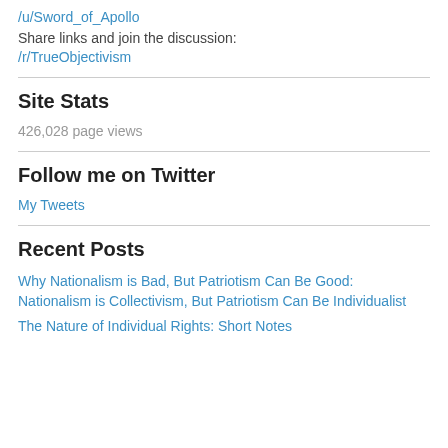/u/Sword_of_Apollo
Share links and join the discussion:
/r/TrueObjectivism
Site Stats
426,028 page views
Follow me on Twitter
My Tweets
Recent Posts
Why Nationalism is Bad, But Patriotism Can Be Good: Nationalism is Collectivism, But Patriotism Can Be Individualist
The Nature of Individual Rights: Short Notes